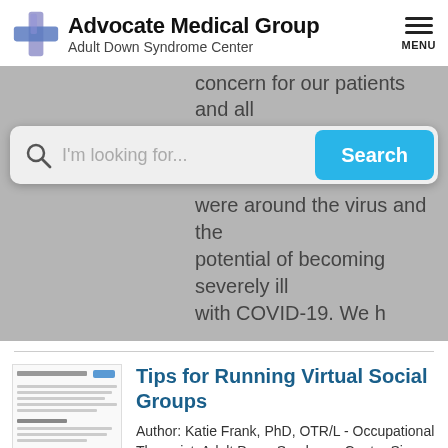[Figure (logo): Advocate Medical Group cross/plus logo in blue and purple]
Advocate Medical Group
Adult Down Syndrome Center
concern for our patients and all
I'm looking for...
Search
were around the virus and the potential of becoming severely ill with COVID-19. We h
[Figure (screenshot): Thumbnail of document titled 'Tips for Running Virtual Focus Groups']
Tips for Running Virtual Social Groups
Author: Katie Frank, PhD, OTR/L - Occupational Therapist, Adult Down Syndrome Center Since April, staff at the Adult